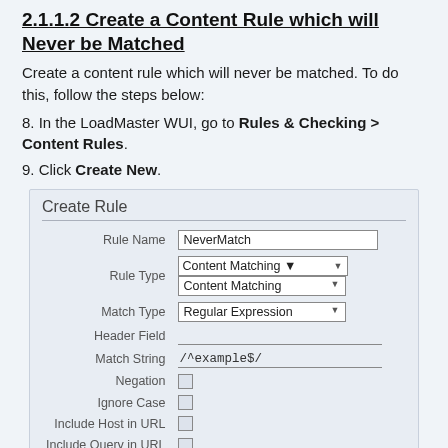2.1.1.2 Create a Content Rule which will Never be Matched
Create a content rule which will never be matched. To do this, follow the steps below:
8. In the LoadMaster WUI, go to Rules & Checking > Content Rules.
9. Click Create New.
[Figure (screenshot): Create Rule form showing fields: Rule Name (NeverMatch), Rule Type (Content Matching), Match Type (Regular Expression), Header Field (empty), Match String (/^example$/), Negation (checkbox), Ignore Case (checkbox), Include Host in URL (checkbox), Include Query in URL (checkbox)]